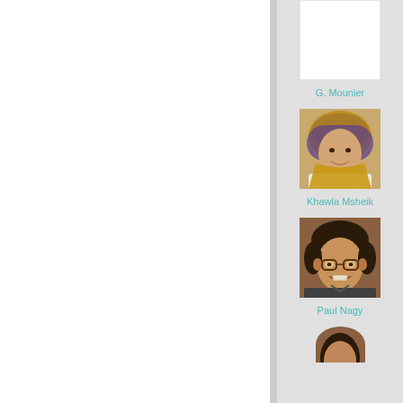[Figure (photo): Profile photo placeholder (white rectangle) for G. Mounier]
G. Mounier
[Figure (photo): Profile photo of Khawla Msheik, a young woman wearing a hijab and smiling]
Khawla Msheik
[Figure (photo): Profile photo of Paul Nagy, a young man wearing glasses and smiling]
Paul Nagy
[Figure (photo): Partial profile photo at bottom, only top of head visible]